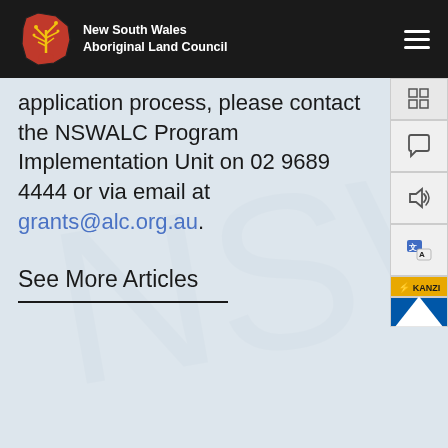New South Wales Aboriginal Land Council
application process, please contact the NSWALC Program Implementation Unit on 02 9689 4444 or via email at grants@alc.org.au.
See More Articles